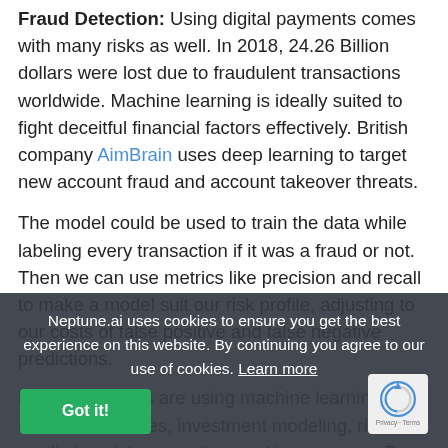Fraud Detection: Using digital payments comes with many risks as well. In 2018, 24.26 Billion dollars were lost due to fraudulent transactions worldwide. Machine learning is ideally suited to fight deceitful financial factors effectively. British company AimBrain uses deep learning to target new account fraud and account takeover threats.
The model could be used to train the data while labeling every transaction if it was a fraud or not. Then we can use metrics like precision and recall to make a model suit our risk profile, adjusting to our costs of false positive and false negative predictions.
Banking: Banks are using machine learning for customer services, investment modeling, risk prediction, risk prevention, and investments. For example, we can provide personalized offers the user's financial behaviors. So, if a client is looking for a house, then it might be useful